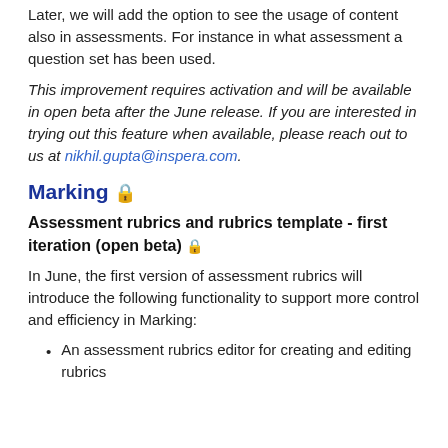Later, we will add the option to see the usage of content also in assessments. For instance in what assessment a question set has been used.
This improvement requires activation and will be available in open beta after the June release. If you are interested in trying out this feature when available, please reach out to us at nikhil.gupta@inspera.com.
Marking 🔒
Assessment rubrics and rubrics template - first iteration (open beta) 🔒
In June, the first version of assessment rubrics will introduce the following functionality to support more control and efficiency in Marking:
An assessment rubrics editor for creating and editing rubrics